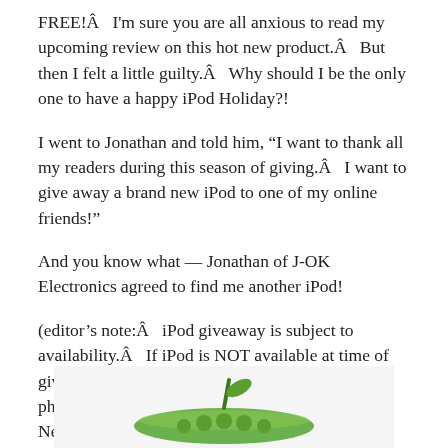FREE!Â  I'm sure you are all anxious to read my upcoming review on this hot new product.Â  But then I felt a little guilty.Â  Why should I be the only one to have a happy iPod Holiday?!
I went to Jonathan and told him, “I want to thank all my readers during this season of giving.Â  I want to give away a brand new iPod to one of my online friends!”
And you know what — Jonathan of J-OK Electronics agreed to find me another iPod!
(editor’s note:Â  iPod giveaway is subject to availability.Â  If iPod is NOT available at time of giveaway, a photo of a PEAPOD with Neil’s face photoshopped inside will be substituted (signed by Neil AND his mother!)
[Figure (photo): A green pea pod figure at the bottom of the page]